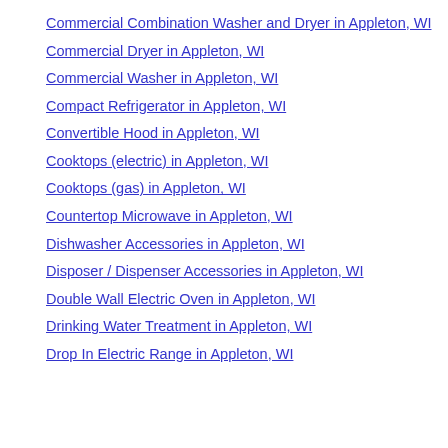Commercial Combination Washer and Dryer in Appleton, WI
Commercial Dryer in Appleton, WI
Commercial Washer in Appleton, WI
Compact Refrigerator in Appleton, WI
Convertible Hood in Appleton, WI
Cooktops (electric) in Appleton, WI
Cooktops (gas) in Appleton, WI
Countertop Microwave in Appleton, WI
Dishwasher Accessories in Appleton, WI
Disposer / Dispenser Accessories in Appleton, WI
Double Wall Electric Oven in Appleton, WI
Drinking Water Treatment in Appleton, WI
Drop In Electric Range in Appleton, WI